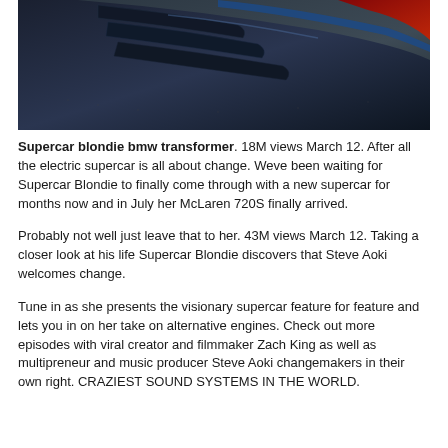[Figure (photo): Close-up photo of a dark supercar body panel, showing aerodynamic fins or vanes with blue and red carbon fiber details against a dark grey textured background.]
Supercar blondie bmw transformer. 18M views March 12. After all the electric supercar is all about change. Weve been waiting for Supercar Blondie to finally come through with a new supercar for months now and in July her McLaren 720S finally arrived.

Probably not well just leave that to her. 43M views March 12. Taking a closer look at his life Supercar Blondie discovers that Steve Aoki welcomes change.

Tune in as she presents the visionary supercar feature for feature and lets you in on her take on alternative engines. Check out more episodes with viral creator and filmmaker Zach King as well as multipreneur and music producer Steve Aoki changemakers in their own right. CRAZIEST SOUND SYSTEMS IN THE WORLD.